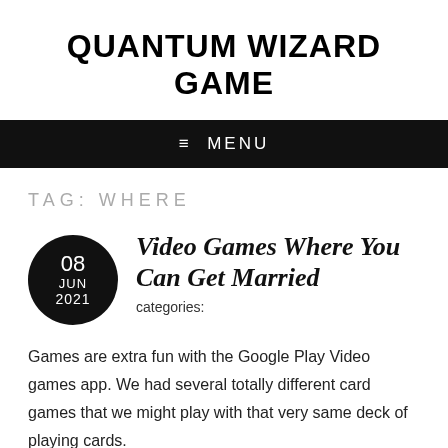QUANTUM WIZARD GAME
≡  MENU
TAG: WHERE
Video Games Where You Can Get Married
categories:
Games are extra fun with the Google Play Video games app. We had several totally different card games that we might play with that very same deck of playing cards.